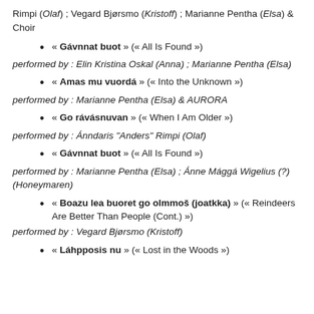Rimpi (Olaf) ; Vegard Bjørsmo (Kristoff) ; Marianne Pentha (Elsa) & Choir
« Gávnnat buot » (« All Is Found »)
performed by : Elin Kristina Oskal (Anna) ; Marianne Pentha (Elsa)
« Amas mu vuordá » (« Into the Unknown »)
performed by : Marianne Pentha (Elsa) & AURORA
« Go rávásnuvan » (« When I Am Older »)
performed by : Ánndaris "Anders" Rimpi (Olaf)
« Gávnnat buot » (« All Is Found »)
performed by : Marianne Pentha (Elsa) ; Ánne Mággá Wigelius (?) (Honeymaren)
« Boazu lea buoret go olmmoš (joatkka) » (« Reindeers Are Better Than People (Cont.) »)
performed by : Vegard Bjørsmo (Kristoff)
« Láhpposis nu » (« Lost in the Woods »)